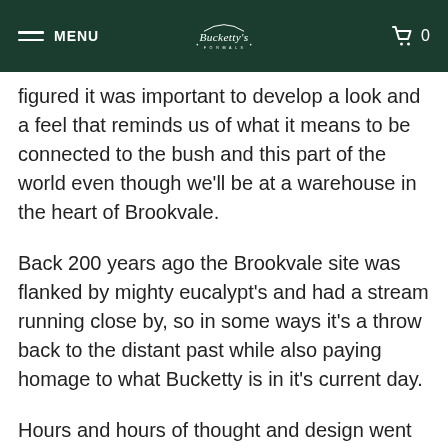MENU | Bucketty's | 0
figured it was important to develop a look and a feel that reminds us of what it means to be connected to the bush and this part of the world even though we'll be at a warehouse in the heart of Brookvale.
Back 200 years ago the Brookvale site was flanked by mighty eucalypt's and had a stream running close by, so in some ways it's a throw back to the distant past while also paying homage to what Bucketty is in it's current day.
Hours and hours of thought and design went into our new look. Kelly and Gary from ExtraBlack even made the 3hr round trip to Bucketty and really immersed themselves in the essence of the place.